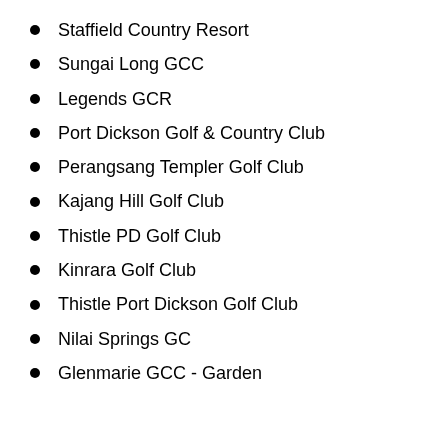Staffield Country Resort
Sungai Long GCC
Legends GCR
Port Dickson Golf & Country Club
Perangsang Templer Golf Club
Kajang Hill Golf Club
Thistle PD Golf Club
Kinrara Golf Club
Thistle Port Dickson Golf Club
Nilai Springs GC
Glenmarie GCC - Garden